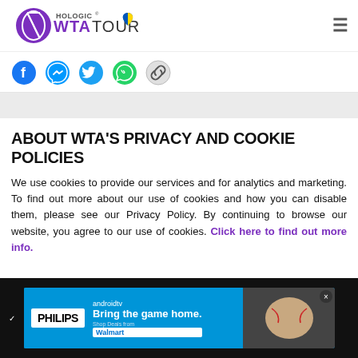Hologic WTA Tour logo with hamburger menu
[Figure (screenshot): Social media share icons: Facebook, Messenger, Twitter, WhatsApp, and link/copy icon]
ABOUT WTA'S PRIVACY AND COOKIE POLICIES
We use cookies to provide our services and for analytics and marketing. To find out more about our use of cookies and how you can disable them, please see our Privacy Policy. By continuing to browse our website, you agree to our use of cookies. Click here to find out more info.
[Figure (screenshot): Philips Android TV advertisement - Bring the game home - Walmart]